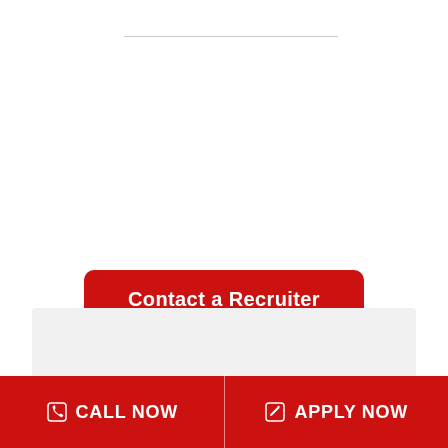[Figure (other): Horizontal rule / divider line near top of page]
Contact a Recruiter
[Figure (other): Light gray background bar at bottom section]
CALL NOW   APPLY NOW